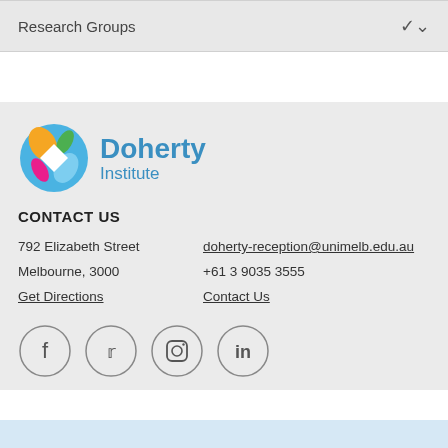Research Groups
[Figure (logo): Doherty Institute logo with colourful circular icon and blue text reading Doherty Institute]
CONTACT US
792 Elizabeth Street   doherty-reception@unimelb.edu.au
Melbourne, 3000        +61 3 9035 3555
Get Directions         Contact Us
[Figure (infographic): Social media icons: Facebook, Twitter, Instagram, LinkedIn — circular outlined icons]